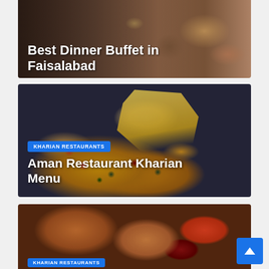[Figure (photo): Food photo showing dinner buffet dishes, partially visible at top of page with text overlay 'Best Dinner Buffet in Faisalabad']
Best Dinner Buffet in Faisalabad
[Figure (photo): Pizza photo showing a whole pizza with colorful toppings (red peppers, green peppers, black olives) with melted cheese being pulled up, with badge 'KHARIAN RESTAURANTS' and title 'Aman Restaurant Kharian Menu']
KHARIAN RESTAURANTS
Aman Restaurant Kharian Menu
[Figure (photo): Food photo showing fried/grilled food items including what appears to be fried chicken and grilled meat with sauce, partially visible at bottom with 'KHARIAN RESTAURANTS' badge]
KHARIAN RESTAURANTS